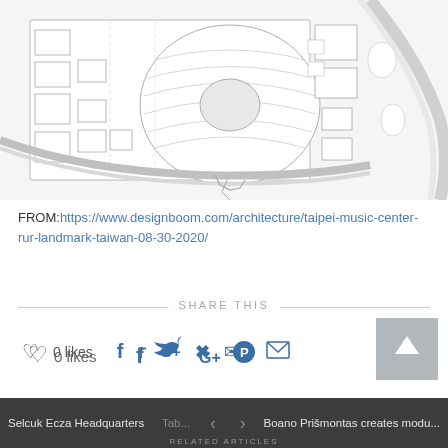[Figure (schematic): Architectural floor plan / site plan of Taipei Music Center showing building layout with seating area, structural elements, roads and surrounding site context. Line drawing in black on white/light gray background.]
FROM:https://www.designboom.com/architecture/taipei-music-center-rur-landmark-taiwan-08-30-2020/
SHARE THIS
0 likes
Selcuk Ecza Headquarters   Tab...   <   >   Boano Prišmontas creates modu...   RELATED ARTICLES